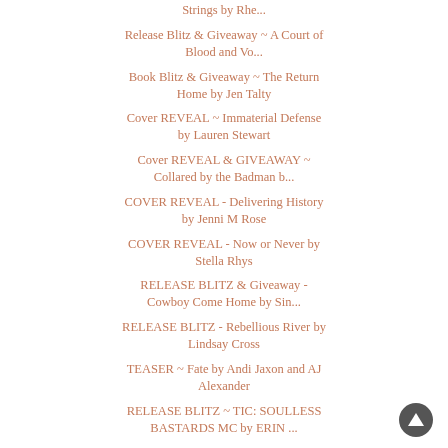Strings by Rhe...
Release Blitz & Giveaway ~ A Court of Blood and Vo...
Book Blitz & Giveaway ~ The Return Home by Jen Talty
Cover REVEAL ~ Immaterial Defense by Lauren Stewart
Cover REVEAL & GIVEAWAY ~ Collared by the Badman b...
COVER REVEAL - Delivering History by Jenni M Rose
COVER REVEAL - Now or Never by Stella Rhys
RELEASE BLITZ & Giveaway - Cowboy Come Home by Sin...
RELEASE BLITZ - Rebellious River by Lindsay Cross
TEASER ~ Fate by Andi Jaxon and AJ Alexander
RELEASE BLITZ ~ TIC: SOULLESS BASTARDS MC by ERIN ...